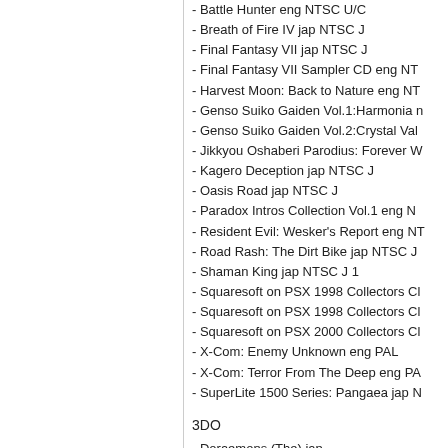- Battle Hunter eng NTSC U/C
- Breath of Fire IV jap NTSC J
- Final Fantasy VII jap NTSC J
- Final Fantasy VII Sampler CD eng NT...
- Harvest Moon: Back to Nature eng NT...
- Genso Suiko Gaiden Vol.1:Harmonia n...
- Genso Suiko Gaiden Vol.2:Crystal Val...
- Jikkyou Oshaberi Parodius: Forever W...
- Kagero Deception jap NTSC J
- Oasis Road jap NTSC J
- Paradox Intros Collection Vol.1 eng N...
- Resident Evil: Wesker's Report eng NT...
- Road Rash: The Dirt Bike jap NTSC J...
- Shaman King jap NTSC J 1
- Squaresoft on PSX 1998 Collectors Cl...
- Squaresoft on PSX 1998 Collectors Cl...
- Squaresoft on PSX 2000 Collectors Cl...
- X-Com: Enemy Unknown eng PAL
- X-Com: Terror From The Deep eng PA...
- SuperLite 1500 Series: Pangaea jap N...
3DO
- Doraemons (The) jap
- Dragon Tycoon Edge jap
- Emit vol. 3: Watashi ni Sayonara O ja...
- Gakkou No Kowai Usawa jap
- Ghost Hunter Series: The Mask of Bla...
- Letter That Came Over Time (The) ja...